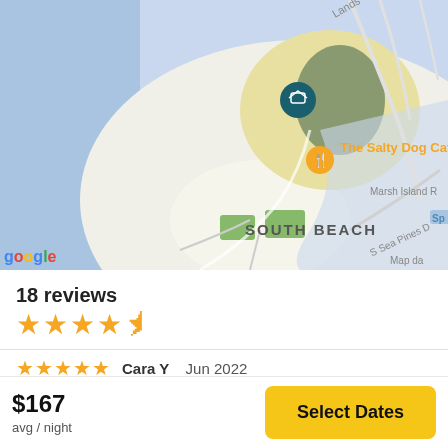[Figure (map): Google Maps view showing South Beach area with The Salty Dog Cafe marker and a home/accommodation pin. Shows Marsh Island, S Sea Pines Dr, and water (blue areas) surrounding a land mass.]
18 reviews
[Figure (other): 4.5 star rating shown with gold star icons]
[Figure (other): 5 star rating for a review by Cara Y, Jun 2022]
$167
avg / night
Select Dates